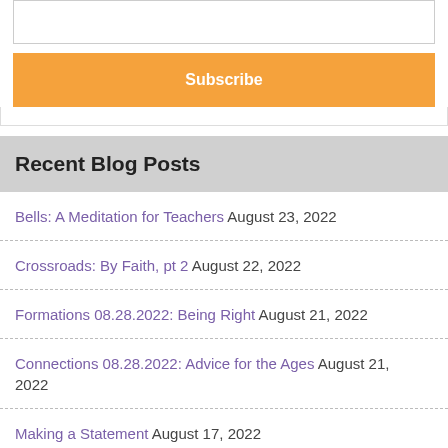[Figure (other): Input text field (empty)]
[Figure (other): Subscribe button (orange background, white bold text)]
Recent Blog Posts
Bells: A Meditation for Teachers August 23, 2022
Crossroads: By Faith, pt 2 August 22, 2022
Formations 08.28.2022: Being Right August 21, 2022
Connections 08.28.2022: Advice for the Ages August 21, 2022
Making a Statement August 17, 2022